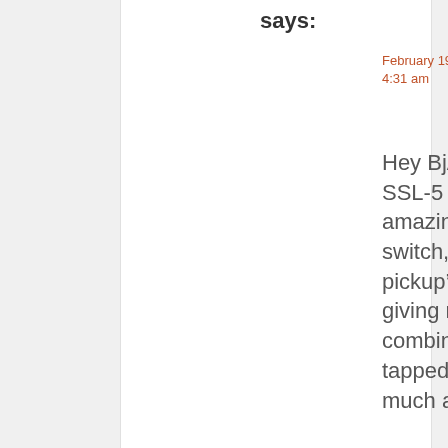says:
February 19, 2009 at 4:31 am
Hey BjÃ¸rn! I installed a tapped SSL-5 last year, along with the amazing Chromacaster rotary switch, which changes the bridge pickup’s position in the circuit, giving me a total of 16 combinations. However, the tapped version (SSL-5T) is pretty much a waste, unless you have a